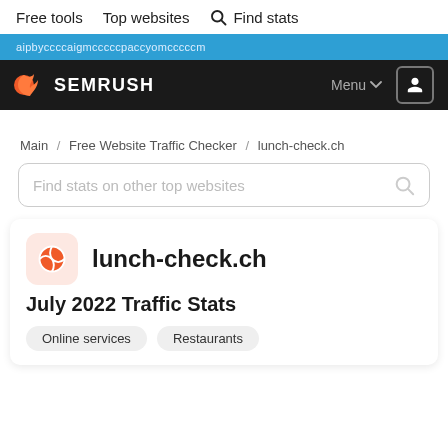Free tools   Top websites   Find stats
SEMRUSH   Menu   [user icon]
Main / Free Website Traffic Checker / lunch-check.ch
Find stats on other top websites
lunch-check.ch
July 2022 Traffic Stats
Online services
Restaurants